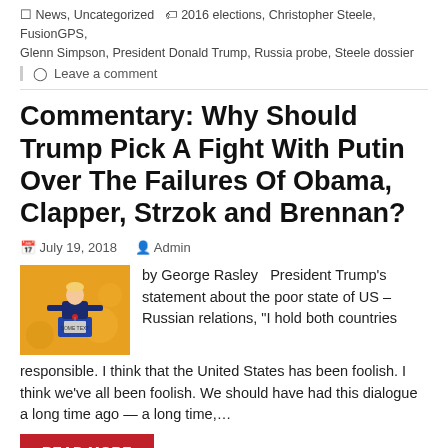News, Uncategorized  2016 elections, Christopher Steele, FusionGPS, Glenn Simpson, President Donald Trump, Russia probe, Steele dossier
Leave a comment
Commentary: Why Should Trump Pick A Fight With Putin Over The Failures Of Obama, Clapper, Strzok and Brennan?
July 19, 2018   Admin
[Figure (illustration): Illustration of a figure at a podium with yellow background]
by George Rasley   President Trump's statement about the poor state of US – Russian relations, "I hold both countries responsible. I think that the United States has been foolish. I think we've all been foolish. We should have had this dialogue a long time ago — a long time,...
READ MORE
Commentary  2016 elections, FBI, meddling, Russia, Russia probe
Leave a comment